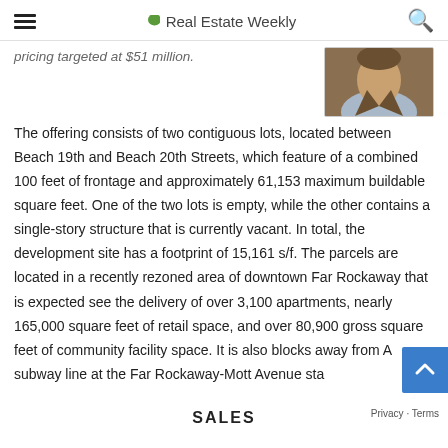Real Estate Weekly
pricing targeted at $51 million.
[Figure (photo): Headshot of a person wearing a brown jacket and light blue shirt]
The offering consists of two contiguous lots, located between Beach 19th and Beach 20th Streets, which feature of a combined 100 feet of frontage and approximately 61,153 maximum buildable square feet. One of the two lots is empty, while the other contains a single-story structure that is currently vacant. In total, the development site has a footprint of 15,161 s/f. The parcels are located in a recently rezoned area of downtown Far Rockaway that is expected see the delivery of over 3,100 apartments, nearly 165,000 square feet of retail space, and over 80,900 gross square feet of community facility space. It is also blocks away from A subway line at the Far Rockaway-Mott Avenue sta
SALES